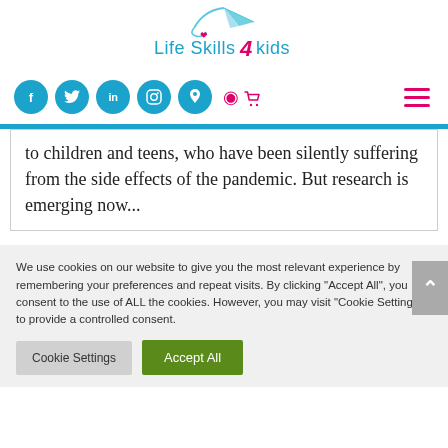[Figure (logo): Life Skills 4 Kids logo with paper airplane and heart graphic, teal and pink text]
[Figure (other): Navigation bar with social media icon circles (Facebook, Twitter, LinkedIn, Instagram, Phone) in teal, pink shopping cart icon, and pink hamburger menu]
to children and teens, who have been silently suffering from the side effects of the pandemic. But research is emerging now...
We use cookies on our website to give you the most relevant experience by remembering your preferences and repeat visits. By clicking "Accept All", you consent to the use of ALL the cookies. However, you may visit "Cookie Settings" to provide a controlled consent.
Cookie Settings | Accept All